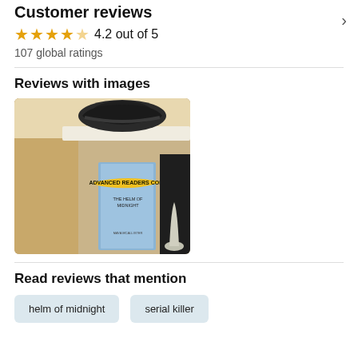Customer reviews
4.2 out of 5
107 global ratings
Reviews with images
[Figure (photo): Photo of an Advanced Readers Copy book titled 'The Helm of Midnight' displayed on a shelf or surface, with a dark leather hat visible above it.]
Read reviews that mention
helm of midnight
serial killer